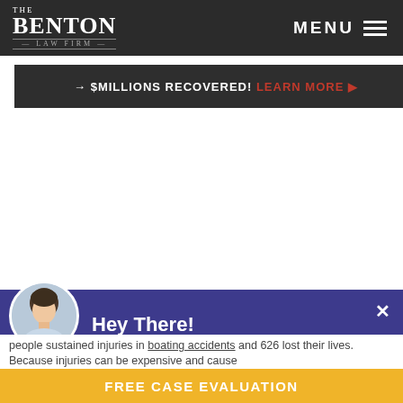The Benton Law Firm | MENU
→ $MILLIONS RECOVERED! LEARN MORE ▶
[Figure (screenshot): White blank/empty content area (video or image placeholder)]
Hey There!
Need legal assistance? Get help instantly!
According to recent studies, in 2015, approximately 2,613 people sustained injuries in boating accidents and 626 lost their lives. Because injuries can be expensive and cause
FREE CASE EVALUATION